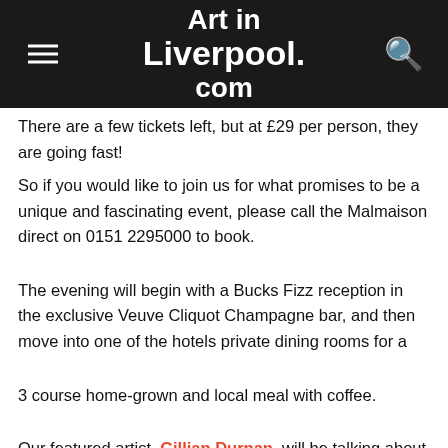Art in Liverpool.com
There are a few tickets left, but at £29 per person, they are going fast!
So if you would like to join us for what promises to be a unique and fascinating event, please call the Malmaison direct on 0151 2295000 to book.
The evening will begin with a Bucks Fizz reception in the exclusive Veuve Cliquot Champagne bar, and then move into one of the hotels private dining rooms for a
3 course home-grown and local meal with coffee.
Our featured artist, Gillian Durnan, will be talking about her work – which will be on display throughout the evening – between courses, and will also be on hand to answer any